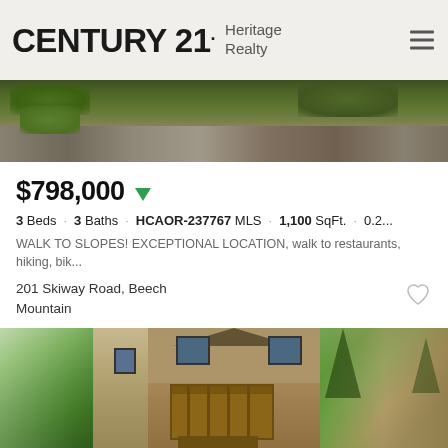CENTURY 21. Heritage Realty
[Figure (photo): Exterior photo of property showing stone wall and greenery, landscape view from above]
$798,000 ▼
3 Beds · 3 Baths · HCAOR-237767 MLS · 1,100 SqFt. · 0.2...
WALK TO SLOPES! EXCEPTIONAL LOCATION, walk to restaurants, hiking, bik...
201 Skiway Road, Beech Mountain
Listing courtesy of Blue Ridge Realty & Inv. - Banner Elk.
[Figure (photo): Two-panel exterior photo of a tan/beige two-story house with wood balcony, surrounded by trees]